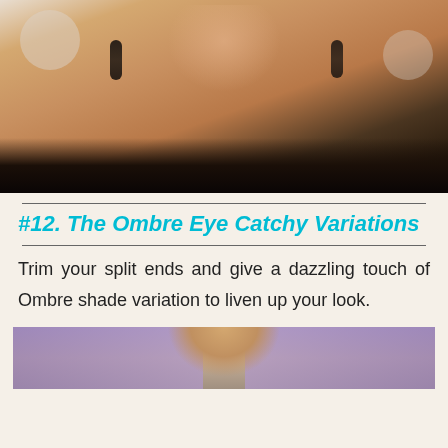[Figure (photo): Close-up photo of a woman's face and neck at a formal event, wearing dark dangling earrings and a dark lace outfit, with a blurred background showing award show signage]
#12. The Ombre Eye Catchy Variations
Trim your split ends and give a dazzling touch of Ombre shade variation to liven up your look.
[Figure (photo): Partial photo of a person with brown hair, showing upper portion of face/head with a purple/blue background]